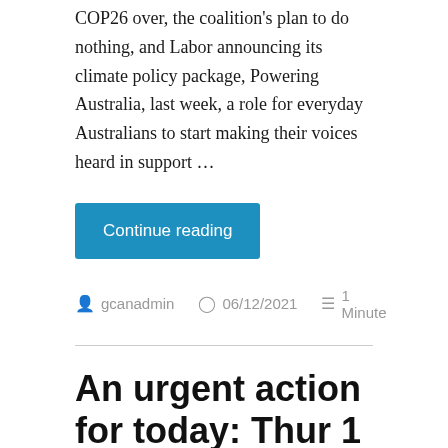COP26 over, the coalition's plan to do nothing, and Labor announcing its climate policy package, Powering Australia, last week, a role for everyday Australians to start making their voices heard in support …
Continue reading
gcanadmin   06/12/2021   1 Minute
An urgent action for today: Thur 1 December, or tomorrow!